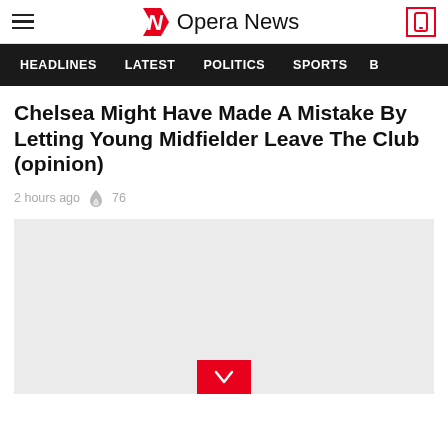Opera News
HEADLINES  LATEST  POLITICS  SPORTS
Chelsea Might Have Made A Mistake By Letting Young Midfielder Leave The Club (opinion)
2 hours ago  76
[Figure (other): Gray placeholder image with red expand/chevron button at the bottom center]